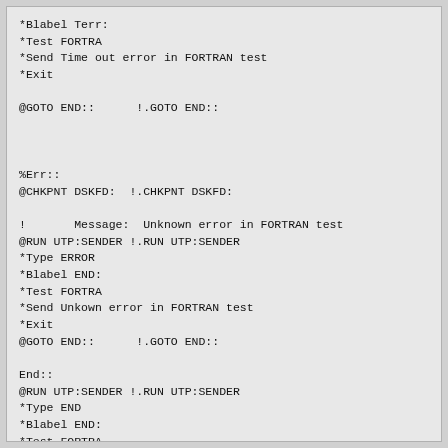*Blabel Terr:
*Test FORTRA
*Send Time out error in FORTRAN test
*Exit

@GOTO END::      !.GOTO END::



%Err::
@CHKPNT DSKFD:  !.CHKPNT DSKFD:

!       Message:  Unknown error in FORTRAN test
@RUN UTP:SENDER !.RUN UTP:SENDER
*Type ERROR
*Blabel END:
*Test FORTRA
*Send Unkown error in FORTRAN test
*Exit
@GOTO END::      !.GOTO END::

End::
@RUN UTP:SENDER !.RUN UTP:SENDER
*Type END
*Blabel END:
*Test FORTRA
*Send End of FORTRAN test
*Exit